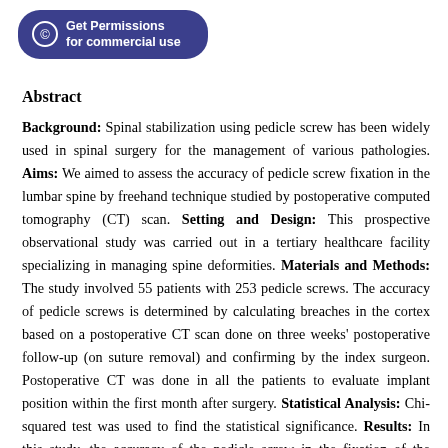[Figure (other): Blue rounded button with copyright symbol and text 'Get Permissions for commercial use']
Abstract
Background: Spinal stabilization using pedicle screw has been widely used in spinal surgery for the management of various pathologies. Aims: We aimed to assess the accuracy of pedicle screw fixation in the lumbar spine by freehand technique studied by postoperative computed tomography (CT) scan. Setting and Design: This prospective observational study was carried out in a tertiary healthcare facility specializing in managing spine deformities. Materials and Methods: The study involved 55 patients with 253 pedicle screws. The accuracy of pedicle screws is determined by calculating breaches in the cortex based on a postoperative CT scan done on three weeks' postoperative follow-up (on suture removal) and confirming by the index surgeon. Postoperative CT was done in all the patients to evaluate implant position within the first month after surgery. Statistical Analysis: Chi-squared test was used to find the statistical significance. Results: In this study, the accuracy of the pedicle screw in the fixation of the lumbar spine was 95.25%, and the incidence of pedicle breaches was 4.75%. The